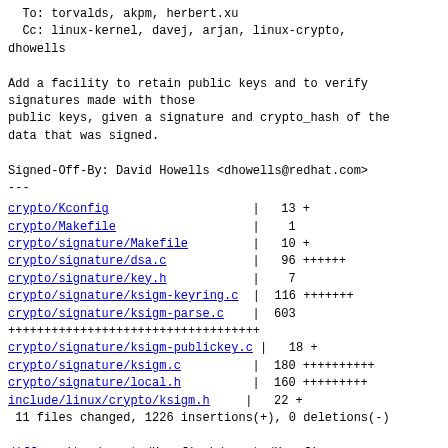To: torvalds, akpm, herbert.xu
  Cc: linux-kernel, davej, arjan, linux-crypto,
dhowells
Add a facility to retain public keys and to verify
signatures made with those
public keys, given a signature and crypto_hash of the
data that was signed.
Signed-Off-By: David Howells <dhowells@redhat.com>
---
| file | | | stats |
| --- | --- | --- |
| crypto/Kconfig | | | 13 + |
| crypto/Makefile | | |  1 |
| crypto/signature/Makefile | | | 10 + |
| crypto/signature/dsa.c | | | 96 ++++++ |
| crypto/signature/key.h | | |  7 |
| crypto/signature/ksigm-keyring.c | | | 116 +++++++ |
| crypto/signature/ksigm-parse.c | | | 603 |
|  |  | ++++++++++++++++++++++++++++++++++++ |
| crypto/signature/ksigm-publickey.c | | | 18 + |
| crypto/signature/ksigm.c | | | 180 ++++++++++ |
| crypto/signature/local.h | | | 160 +++++++++ |
| include/linux/crypto/ksigm.h | | | 22 + |
11 files changed, 1226 insertions(+), 0 deletions(-)
diff --git a/crypto/Kconfig b/crypto/Kconfig
index aab5b8f..e764509 100644
--- a/crypto/Kconfig
+++ b/crypto/Kconfig